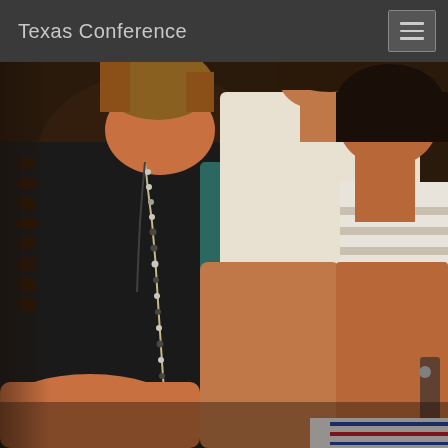Texas Conference
[Figure (photo): Close-up photo of three people sitting together. On the left, a woman wearing a black sleeveless top with cutout details and a long beaded necklace. In the center, a person wearing a white v-neck t-shirt. On the right, a person wearing a striped Houston Astros World Series Champions t-shirt. They appear to be looking at something on a table in the lower right.]